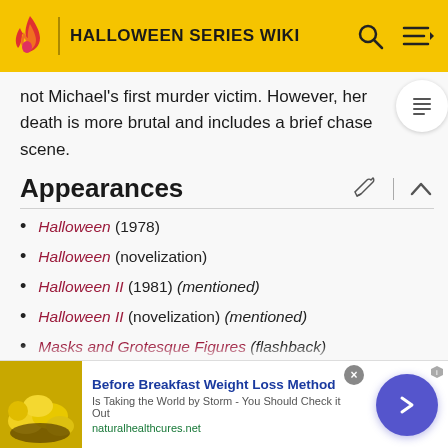HALLOWEEN SERIES WIKI
not Michael's first murder victim. However, her death is more brutal and includes a brief chase scene.
Appearances
Halloween (1978)
Halloween (novelization)
Halloween II (1981) (mentioned)
Halloween II (novelization) (mentioned)
Masks and Grotesque Figures (flashback)
Demons Tormenting Me (flashback)
Halloween: The Curse of Michael Myers (mentioned)